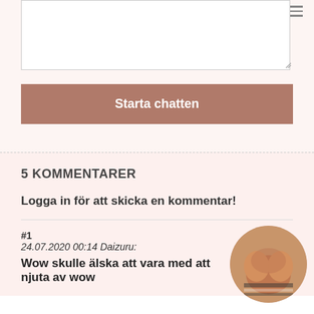[Figure (screenshot): Empty text area input box with resize handle in bottom right corner]
Starta chatten
5 KOMMENTARER
Logga in för att skicka en kommentar!
#1
24.07.2020 00:14 Daizuru:
Wow skulle älska att vara med att njuta av wow
[Figure (photo): Circular cropped photo showing a person's torso/chest area wearing a striped garment]